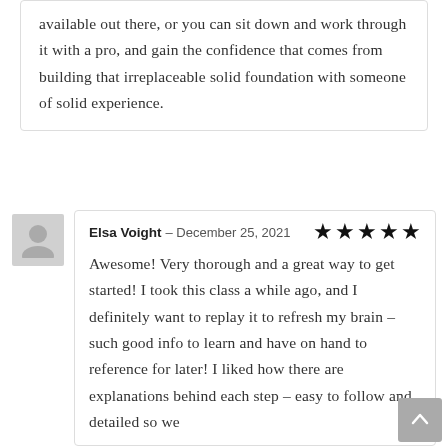available out there, or you can sit down and work through it with a pro, and gain the confidence that comes from building that irreplaceable solid foundation with someone of solid experience.
Elsa Voight – December 25, 2021
Awesome! Very thorough and a great way to get started! I took this class a while ago, and I definitely want to replay it to refresh my brain – such good info to learn and have on hand to reference for later! I liked how there are explanations behind each step – easy to follow and detailed so we